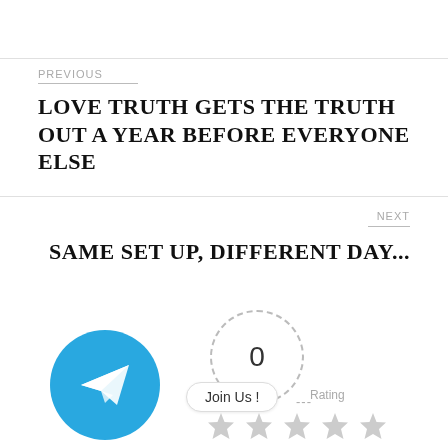PREVIOUS
LOVE TRUTH GETS THE TRUTH OUT A YEAR BEFORE EVERYONE ELSE
NEXT
SAME SET UP, DIFFERENT DAY...
[Figure (logo): Telegram blue circle logo with white paper plane icon]
[Figure (infographic): Vote count circle with dashed border showing 0, Join Us button, rating label with stars]